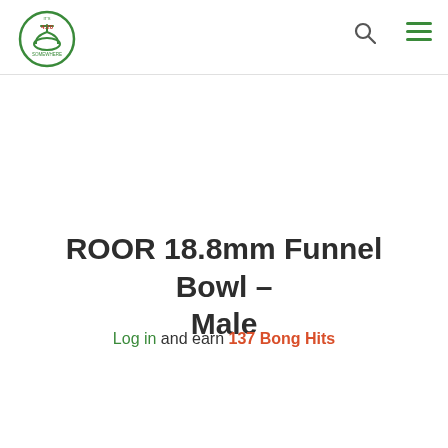It's 4:20 Somewhere — navigation header with logo, search icon, and menu icon
ROOR 18.8mm Funnel Bowl – Male
Log in and earn 137 Bong Hits